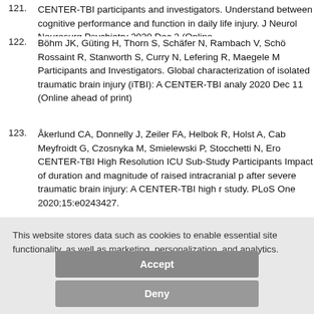122. Böhm JK, Güting H, Thorn S, Schäfer N, Rambach V, Schö... Rossaint R, Stanworth S, Curry N, Lefering R, Maegele M... Participants and Investigators. Global characterization of isolated traumatic brain injury (iTBI): A CENTER-TBI analy... 2020 Dec 11 (Online ahead of print)
123. Åkerlund CA, Donnelly J, Zeiler FA, Helbok R, Holst A, Cab... Meyfroidt G, Czosnyka M, Smielewski P, Stocchetti N, Ero... CENTER-TBI High Resolution ICU Sub-Study Participants... Impact of duration and magnitude of raised intracranial p... after severe traumatic brain injury: A CENTER-TBI high r... study. PLoS One 2020;15:e0243427.
This website stores data such as cookies to enable essential site functionality, as well as marketing, personalization, and analytics.
Accept
Deny